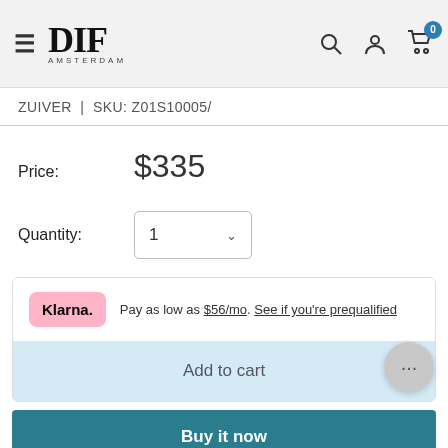DIF Amsterdam — navigation header with search, account, and cart icons
ZUIVER | SKU: Z01S10005/
Price: $335
Quantity: 1
Klarna. Pay as low as $56/mo. See if you're prequalified
Add to cart
Buy it now